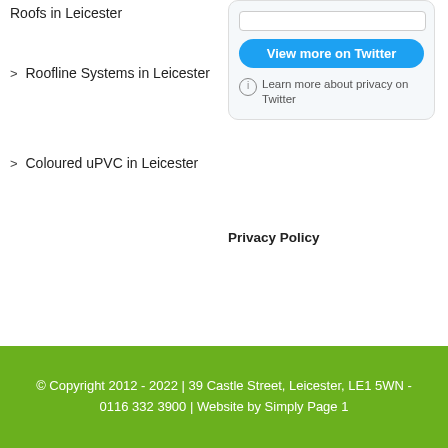Roofs in Leicester
Roofline Systems in Leicester
Coloured uPVC in Leicester
[Figure (screenshot): Twitter widget with 'View more on Twitter' blue button and 'Learn more about privacy on Twitter' text]
Privacy Policy
© Copyright 2012 - 2022  |  39 Castle Street, Leicester, LE1 5WN - 0116 332 3900 | Website by Simply Page 1